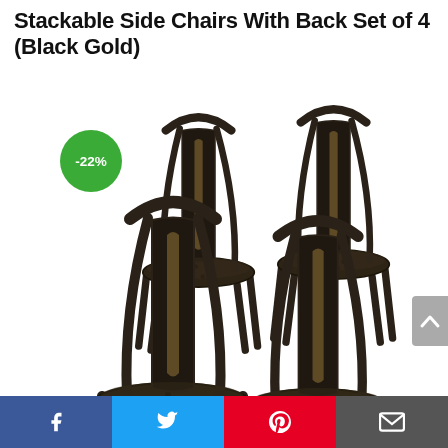Stackable Side Chairs With Back Set of 4 (Black Gold)
[Figure (photo): Set of 4 black gold metal stackable side chairs with slatted backs and perforated seats, arranged in a staggered group. A green circle badge shows -22% discount.]
Facebook | Twitter | Pinterest | Email social share bar